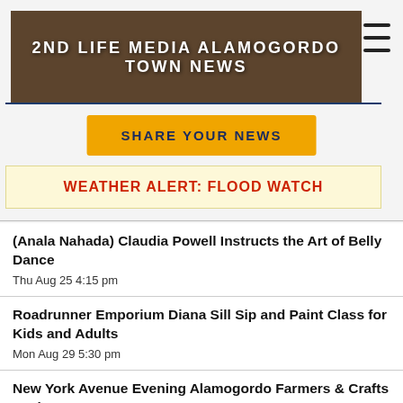2ND LIFE MEDIA ALAMOGORDO TOWN NEWS
SHARE YOUR NEWS
WEATHER ALERT: FLOOD WATCH
(Anala Nahada) Claudia Powell Instructs the Art of Belly Dance
Thu Aug 25 4:15 pm
Roadrunner Emporium Diana Sill Sip and Paint Class for Kids and Adults
Mon Aug 29 5:30 pm
New York Avenue Evening Alamogordo Farmers & Crafts Market
Wed Aug 31 5:45 pm
New York Avenue Evening Alamogordo Farmers &